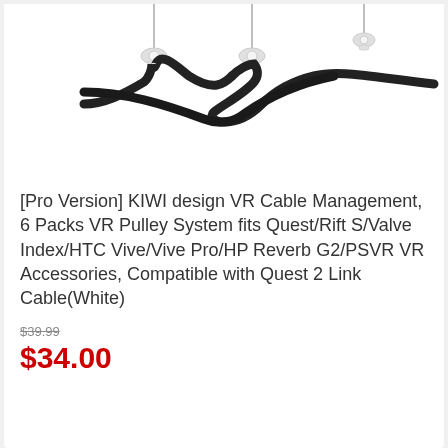[Figure (photo): Product photo showing white VR cable management pulleys with a black cable threaded through them, suspended from above against a white background.]
[Pro Version] KIWI design VR Cable Management, 6 Packs VR Pulley System fits Quest/Rift S/Valve Index/HTC Vive/Vive Pro/HP Reverb G2/PSVR VR Accessories, Compatible with Quest 2 Link Cable(White)
$39.99
$34.00